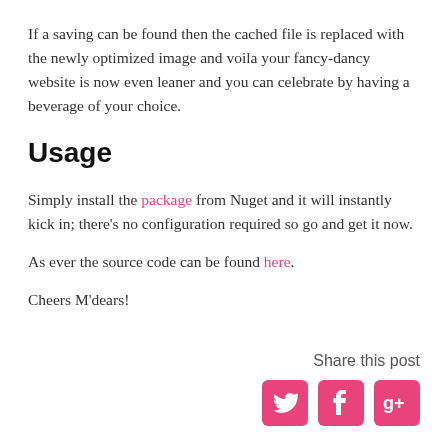If a saving can be found then the cached file is replaced with the newly optimized image and voila your fancy-dancy website is now even leaner and you can celebrate by having a beverage of your choice.
Usage
Simply install the package from Nuget and it will instantly kick in; there's no configuration required so go and get it now.
As ever the source code can be found here.
Cheers M'dears!
Share this post